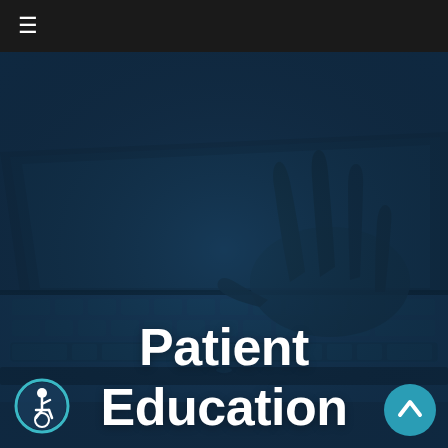≡
[Figure (photo): A blue-tinted photograph of a person's hands typing on a laptop keyboard, viewed from a low angle. The image has a dark navy/steel blue color overlay giving it a cool, professional tone.]
Patient Education
[Figure (logo): Round accessibility icon (wheelchair user symbol) with teal/cyan border, bottom-left corner]
[Figure (other): Round teal scroll-to-top arrow button, bottom-right corner]